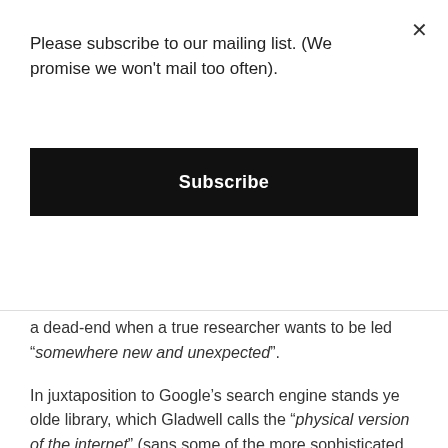Please subscribe to our mailing list. (We promise we won't mail too often).
Subscribe
a dead-end when a true researcher wants to be led “somewhere new and unexpected”.
In juxtaposition to Google’s search engine stands ye olde library, which Gladwell calls the “physical version of the internet” (sans some of the more sophisticated smut…). In a library — should it be required — guidance is on-hand in the form of a librarian, and unlike the internet there is a delightful order to things that the writer likens to a good conversation. Discovery can be as simple as finding what books surround the book that